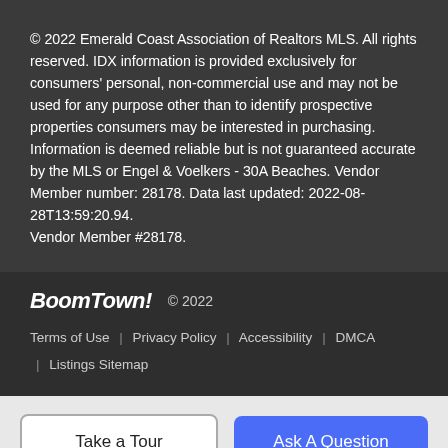© 2022 Emerald Coast Association of Realtors MLS. All rights reserved. IDX information is provided exclusively for consumers' personal, non-commercial use and may not be used for any purpose other than to identify prospective properties consumers may be interested in purchasing. Information is deemed reliable but is not guaranteed accurate by the MLS or Engel & Voelkers - 30A Beaches. Vendor Member number: 28178. Data last updated: 2022-08-28T13:59:20.94.
Vendor Member #28178.
BoomTown! © 2022
Terms of Use | Privacy Policy | Accessibility | DMCA | Listings Sitemap
Take a Tour
Ask A Question